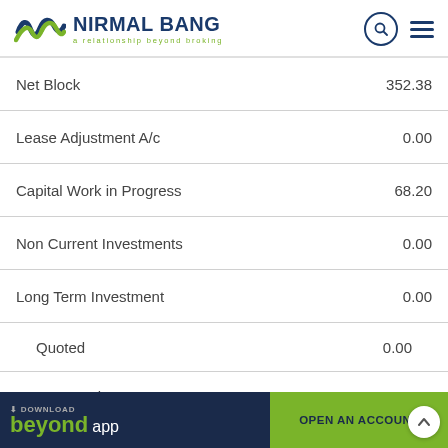NIRMAL BANG — a relationship beyond broking
| Item | Value |
| --- | --- |
| Net Block | 352.38 |
| Lease Adjustment A/c | 0.00 |
| Capital Work in Progress | 68.20 |
| Non Current Investments | 0.00 |
| Long Term Investment | 0.00 |
| Quoted | 0.00 |
| Unquoted | 0.00 |
| Long Term Loans & Advances | 5.00 |